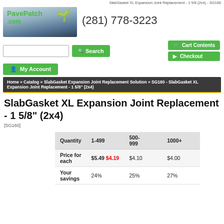SlabGasket XL Expansion Joint Replacement - 1 5/8 (2x4) - SG160
[Figure (logo): PavePatch.com logo with green plant graphic on grey/blue background]
(281) 778-3223
Search | Cart Contents | Checkout | My Account
Home » Catalog » SlabGasket Expansion Joint Replacement Solution » SG160 - SlabGasket XL Expansion Joint Replacement - 1 5/8" (2x4)
SlabGasket XL Expansion Joint Replacement - 1 5/8" (2x4)
[SG160]
| Quantity | 1-499 | 500-999 | 1000+ |
| --- | --- | --- | --- |
| Price for each | $5.49  $4.19 | $4.10 | $4.00 |
| Your savings | 24% | 25% | 27% |